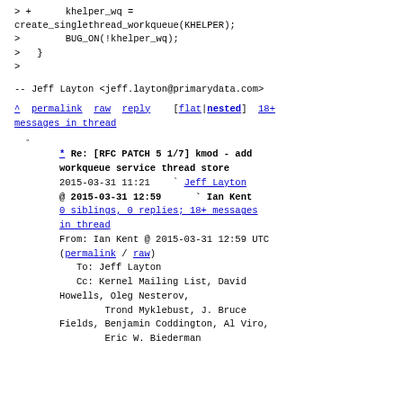> +      khelper_wq =
create_singlethread_workqueue(KHELPER);
>        BUG_ON(!khelper_wq);
>   }
>
--
Jeff Layton <jeff.layton@primarydata.com>
^ permalink raw reply    [flat|nested] 18+ messages in thread
o
* Re: [RFC PATCH 5 1/7] kmod - add workqueue service thread store
2015-03-31 11:21   ` Jeff Layton
@ 2015-03-31 12:59     ` Ian Kent
0 siblings, 0 replies; 18+ messages in thread
From: Ian Kent @ 2015-03-31 12:59 UTC (permalink / raw)
To: Jeff Layton
Cc: Kernel Mailing List, David Howells, Oleg Nesterov,
        Trond Myklebust, J. Bruce Fields, Benjamin Coddington, Al Viro,
        Eric W. Biederman